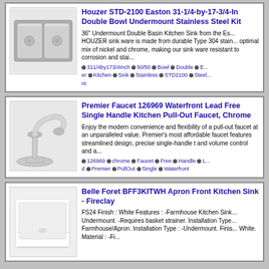[Figure (photo): Stainless steel double bowl undermount kitchen sink]
Houzer STD-2100 Easton 31-1/4-by-17-3/4-In Double Bowl Undermount Stainless Steel Kite
36" Undermount Double Basin Kitchen Sink from the Est... HOUZER sink ware is made from durable Type 304 stain... optimal mix of nickel and chrome, making our sink ware resistant to corrosion and stai...
311/4by173/4Inch  50/50  Bowl  Double  E... er  Kitchen  Sink  Stainless  STD2100  Steel... nt
[Figure (photo): Chrome kitchen pull-out faucet]
Premier Faucet 126969 Waterfront Lead Free Single Handle Kitchen Pull-Out Faucet, Chrome
Enjoy the modern convenience and flexibility of a pull-out faucet at an unparalleled value. Premier's most affordable faucet features streamlined design, precise single-handle t and volume control and a...
126969  chrome  Faucet  Free  Handle  L... d  Premier  PullOut  Single  Waterfront
[Figure (photo): White fireclay apron front kitchen sink]
Belle Foret BFF3KITWH Apron Front Kitchen Sink - Fireclay
FS24 Finish : White Features : -Farmhouse Kitchen Sink... Undermount. -Requires basket strainer. Installation Type ... Farmhouse/Apron. Installation Type : -Undermount. Finis... White. Material : -Fi...